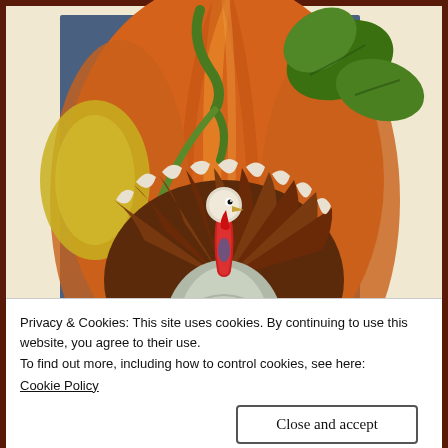[Figure (illustration): Vintage Thanksgiving illustration: a large orange pumpkin with green vine and leaves in the background, and a detailed turkey with fanned tail feathers in the foreground center. Decorative postcard style with blue and brown border accents.]
Privacy & Cookies: This site uses cookies. By continuing to use this website, you agree to their use.
To find out more, including how to control cookies, see here:
Cookie Policy
Close and accept